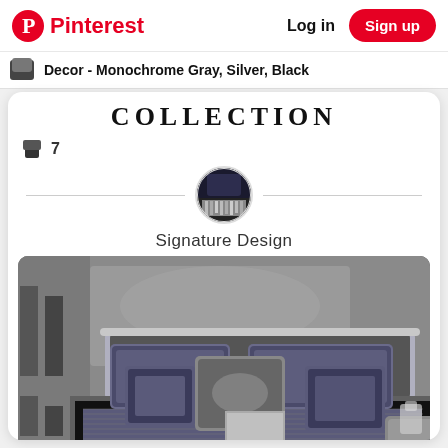Pinterest  Log in  Sign up
Decor - Monochrome Gray, Silver, Black
COLLECTION
7
Signature Design
[Figure (photo): A bedroom with dark gray, silver, and black luxury bedding set featuring embroidered pillows, a metallic headboard, and a side table with a glass candle holder.]